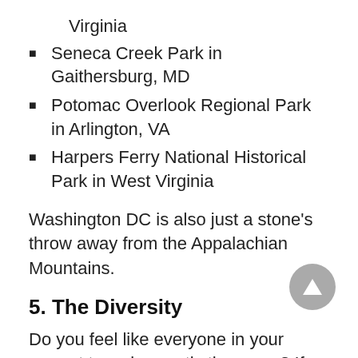Virginia
Seneca Creek Park in Gaithersburg, MD
Potomac Overlook Regional Park in Arlington, VA
Harpers Ferry National Historical Park in West Virginia
Washington DC is also just a stone's throw away from the Appalachian Mountains.
5. The Diversity
Do you feel like everyone in your current town is exactly the same? If you’re craving some diversity, there’s no place better to head than